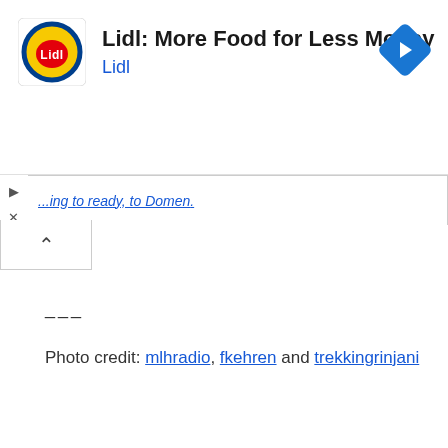[Figure (other): Lidl advertisement banner with Lidl logo, text 'Lidl: More Food for Less Money' and 'Lidl', and a blue navigation arrow icon on the right]
...ing to ready, to Domen.
___
Photo credit: mlhradio, fkehren and trekkingrinjani